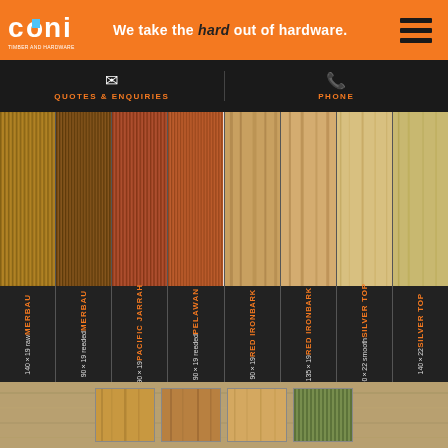CONI TIMBER AND HARDWARE — We take the hard out of hardware.
QUOTES & ENQUIRIES
PHONE
[Figure (photo): Eight vertical wood sample panels showing different timber products: MERBAU 140x19 raw, MERBAU 90x19 reeded, PACIFIC JARRAH 90x19, PELAWAN 90x19 reeded, RED IRONBARK 90x19, RED IRONBARK 135x19, SILVER TOP 90x22 smooth, SILVER TOP 140x22]
[Figure (photo): Four small wood swatch thumbnails at the bottom of the page]